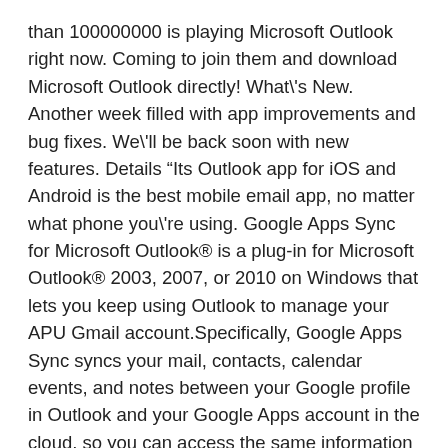than 100000000 is playing Microsoft Outlook right now. Coming to join them and download Microsoft Outlook directly! What\'s New. Another week filled with app improvements and bug fixes. We\'ll be back soon with new features. Details "Its Outlook app for iOS and Android is the best mobile email app, no matter what phone you\'re using. Google Apps Sync for Microsoft Outlook® is a plug-in for Microsoft Outlook® 2003, 2007, or 2010 on Windows that lets you keep using Outlook to manage your APU Gmail account.Specifically, Google Apps Sync syncs your mail, contacts, calendar events, and notes between your Google profile in Outlook and your Google Apps account in the cloud, so you can access the same information at any time The latest update for Outlook Mail & Calendar app is already available for download in the Windows Store. Outlook Mail & Calendar app has been updated to version 17.7805.42278.0 and it is only Create and use apps anywhere even on-premises systems. Find